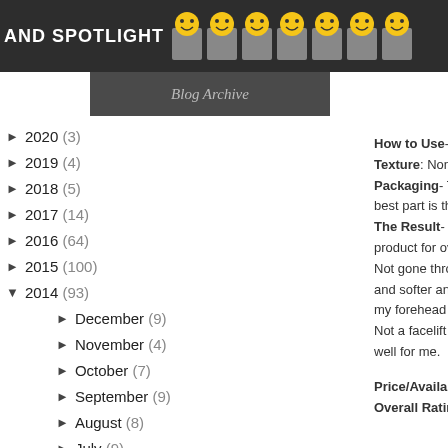AND SPOTLIGHT
[Figure (illustration): Blog archive banner with smiley face icons on dark background]
[Figure (illustration): Blog image with italic text on dark background]
2020 (3)
2019 (4)
2018 (5)
2017 (14)
2016 (64)
2015 (100)
2014 (93)
December (9)
November (4)
October (7)
September (9)
August (8)
July (9)
June (7)
May (6)
April (7)
March (12)
How to Use- Just 2-
Texture: Non fragra
Packaging- This co best part is that we d
The Result- I have a product for over 15 d Not gone through ev and softer and I only my forehead looked Not a facelift kind of well for me.
Price/Availability- N
Overall Rating- 10/